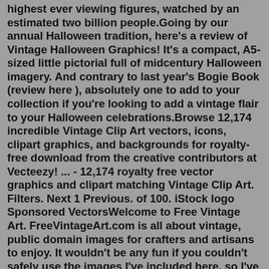highest ever viewing figures, watched by an estimated two billion people.Going by our annual Halloween tradition, here's a review of Vintage Halloween Graphics! It's a compact, A5-sized little pictorial full of midcentury Halloween imagery. And contrary to last year's Bogie Book (review here ), absolutely one to add to your collection if you're looking to add a vintage flair to your Halloween celebrations.Browse 12,174 incredible Vintage Clip Art vectors, icons, clipart graphics, and backgrounds for royalty-free download from the creative contributors at Vecteezy! ... - 12,174 royalty free vector graphics and clipart matching Vintage Clip Art. Filters. Next 1 Previous. of 100. iStock logo Sponsored VectorsWelcome to Free Vintage Art. FreeVintageArt.com is all about vintage, public domain images for crafters and artisans to enjoy. It wouldn't be any fun if you couldn't safely use the images I've included here, so I've made every effort to ensure that every one of our free vintage images are in the public domain under American